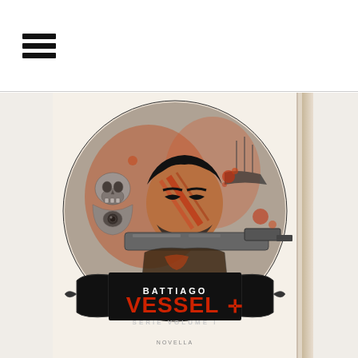[Figure (other): Hamburger/menu icon — three horizontal black bars stacked vertically, top-left of page header area]
[Figure (photo): Book cover photograph of 'Vessel' by Battiago, Serie Volume I. Comic-book style cover art showing a fierce armored male character holding a futuristic gun, with skull decorations, ships in background, orange/red and black/white color scheme. Text on cover reads: BATTIAGO, VESSEL (large red letters with a cross symbol), SERIE VOLUME I, NOVELLA. Book shown in 3D perspective with visible spine on right side.]